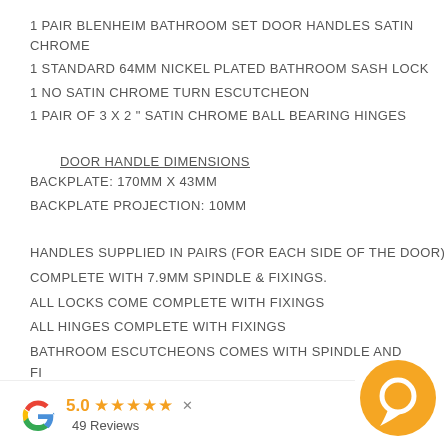1 PAIR BLENHEIM BATHROOM SET DOOR HANDLES SATIN CHROME
1 STANDARD 64MM NICKEL PLATED BATHROOM SASH LOCK
1 NO SATIN CHROME TURN ESCUTCHEON
1 PAIR OF 3 X 2 " SATIN CHROME BALL BEARING HINGES
DOOR HANDLE DIMENSIONS
BACKPLATE: 170MM X 43MM
BACKPLATE PROJECTION: 10MM
HANDLES SUPPLIED IN PAIRS (FOR EACH SIDE OF THE DOOR)
COMPLETE WITH 7.9MM SPINDLE & FIXINGS.
ALL LOCKS COME COMPLETE WITH FIXINGS
ALL HINGES COMPLETE WITH FIXINGS
BATHROOM ESCUTCHEONS COMES WITH SPINDLE AND FI...